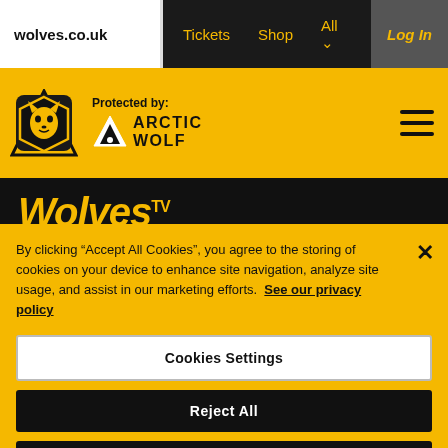wolves.co.uk  Tickets  Shop  All  Log In
[Figure (logo): Wolverhampton Wanderers wolf head logo with Protected by: Arctic Wolf branding on gold header bar, hamburger menu icon on right]
WolvesTV
By clicking “Accept All Cookies”, you agree to the storing of cookies on your device to enhance site navigation, analyze site usage, and assist in our marketing efforts. See our privacy policy
Cookies Settings
Reject All
Accept All Cookies